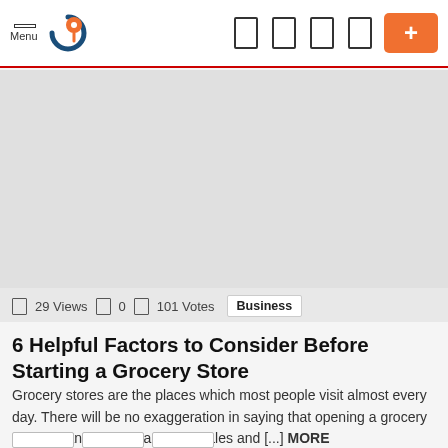Menu [logo] [nav icons] [+]
[Figure (photo): Light gray image placeholder area for article header image]
□ 29 Views □ 0 □ 101 Votes Business
6 Helpful Factors to Consider Before Starting a Grocery Store
Grocery stores are the places which most people visit almost every day. There will be no exaggeration in saying that opening a grocery store means more chances of sales and [...] MORE